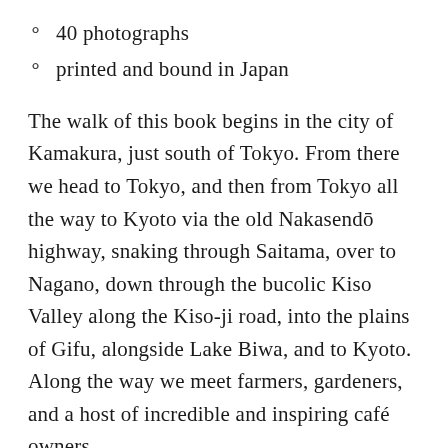40 photographs
printed and bound in Japan
The walk of this book begins in the city of Kamakura, just south of Tokyo. From there we head to Tokyo, and then from Tokyo all the way to Kyoto via the old Nakasendō highway, snaking through Saitama, over to Nagano, down through the bucolic Kiso Valley along the Kiso-ji road, into the plains of Gifu, alongside Lake Biwa, and to Kyoto. Along the way we meet farmers, gardeners, and a host of incredible and inspiring café owners.
Kissa by Kissa is not a guide.